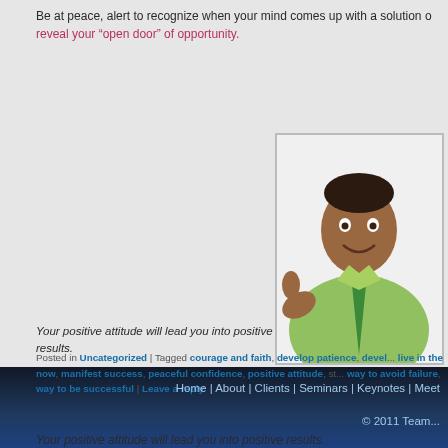Be at peace, alert to recognize when your mind comes up with a solution o... reveal your “open door” of opportunity.
[Figure (photo): Man in light green shirt and tie giving thumbs up, smiling]
Your positive attitude will lead you into positive results.
Posted in Uncategorized | Tagged courage and faith, develop patience, devel... live in the now, manifest success, peaceful confidence, positive attitude, st... way to avoid failure, way to be successful | Leave a reply
Home | About | Clients | Seminars | Keynotes | Meet... © 2011 Team...